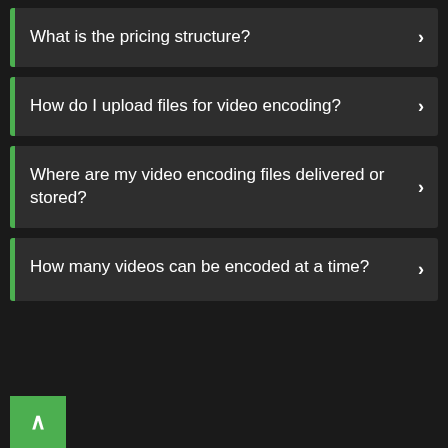What is the pricing structure?
How do I upload files for video encoding?
Where are my video encoding files delivered or stored?
How many videos can be encoded at a time?